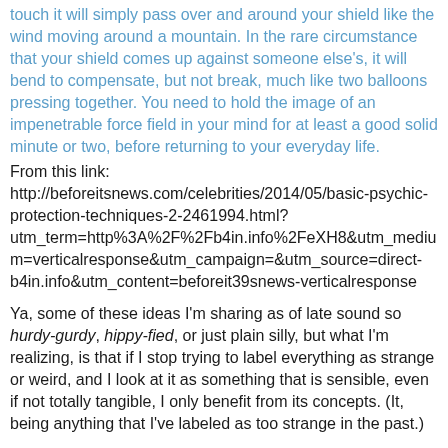touch it will simply pass over and around your shield like the wind moving around a mountain. In the rare circumstance that your shield comes up against someone else's, it will bend to compensate, but not break, much like two balloons pressing together. You need to hold the image of an impenetrable force field in your mind for at least a good solid minute or two, before returning to your everyday life.
From this link: http://beforeitsnews.com/celebrities/2014/05/basic-psychic-protection-techniques-2-2461994.html?utm_term=http%3A%2F%2Fb4in.info%2FeXH8&utm_medium=verticalresponse&utm_campaign=&utm_source=direct-b4in.info&utm_content=beforeit39snews-verticalresponse
Ya, some of these ideas I'm sharing as of late sound so hurdy-gurdy, hippy-fied, or just plain silly, but what I'm realizing, is that if I stop trying to label everything as strange or weird, and I look at it as something that is sensible, even if not totally tangible, I only benefit from its concepts. (It, being anything that I've labeled as too strange in the past.)
What others do with their negative energy should not harm